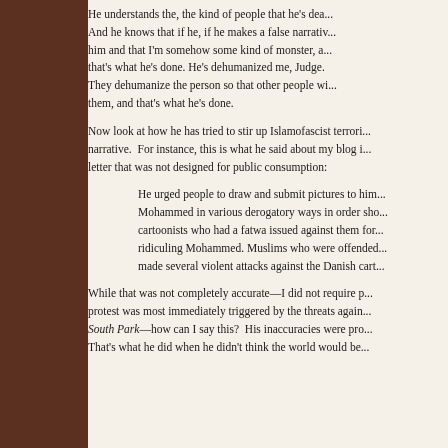He understands the, the kind of people that he's dea... And he knows that if he, if he makes a false narrativ... him and that I'm somehow some kind of monster, a... that's what he's done. He's dehumanized me, Judge. They dehumanize the person so that other people wi... them, and that's what he's done.
Now look at how he has tried to stir up Islamofascist terrori... narrative. For instance, this is what he said about my blog i... letter that was not designed for public consumption:
He urged people to draw and submit pictures to him... Mohammed in various derogatory ways in order sho... cartoonists who had a fatwa issued against them for... ridiculing Mohammed. Muslims who were offended... made several violent attacks against the Danish cart...
While that was not completely accurate—I did not require p... protest was most immediately triggered by the threats again... South Park—how can I say this? His inaccuracies were pro... That's what he did when he didn't think the world would be...